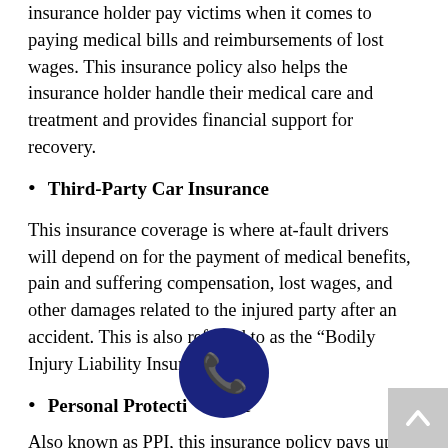insurance holder pay victims when it comes to paying medical bills and reimbursements of lost wages. This insurance policy also helps the insurance holder handle their medical care and treatment and provides financial support for recovery.
Third-Party Car Insurance
This insurance coverage is where at-fault drivers will depend on for the payment of medical benefits, pain and suffering compensation, lost wages, and other damages related to the injured party after an accident. This is also referred to as the “Bodily Injury Liability Insurance.”
Personal Protection Insurance
Also known as PPI, this insurance policy pays up to